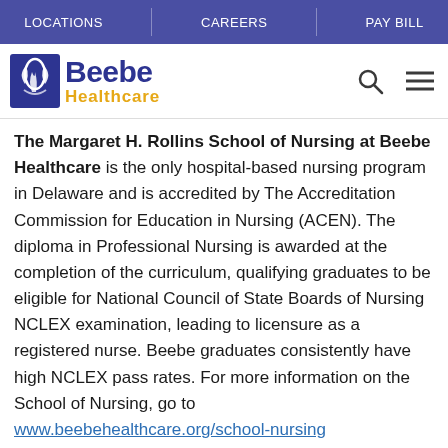LOCATIONS | CAREERS | PAY BILL
[Figure (logo): Beebe Healthcare logo with stylized hands icon, 'Beebe' in dark blue and 'Healthcare' in gold/yellow]
The Margaret H. Rollins School of Nursing at Beebe Healthcare is the only hospital-based nursing program in Delaware and is accredited by The Accreditation Commission for Education in Nursing (ACEN). The diploma in Professional Nursing is awarded at the completion of the curriculum, qualifying graduates to be eligible for National Council of State Boards of Nursing NCLEX examination, leading to licensure as a registered nurse. Beebe graduates consistently have high NCLEX pass rates. For more information on the School of Nursing, go to www.beebehealthcare.org/school-nursing